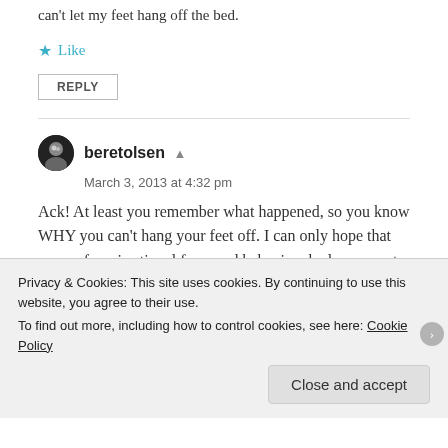can't let my feet hang off the bed.
★ Like
REPLY
beretolsen
March 3, 2013 at 4:32 pm
Ack! At least you remember what happened, so you know WHY you can't hang your feet off. I can only hope that some of my irrational fears and behaviors had some sort of reasonable origin…
Privacy & Cookies: This site uses cookies. By continuing to use this website, you agree to their use.
To find out more, including how to control cookies, see here: Cookie Policy
Close and accept